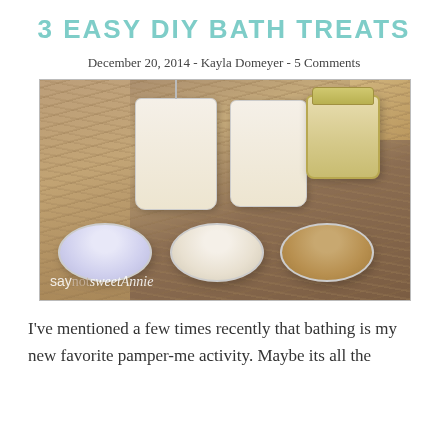3 EASY DIY BATH TREATS
December 20, 2014 - Kayla Domeyer - 5 Comments
[Figure (photo): Photo of DIY bath treats: two muslin drawstring bags, a mason jar with label, and three glass bowls containing purple bath salts, white salt/sugar, and brown sugar scrub, arranged on shredded paper filler. Watermark reads 'say not sweet Annie'.]
I've mentioned a few times recently that bathing is my new favorite pamper-me activity. Maybe its all the